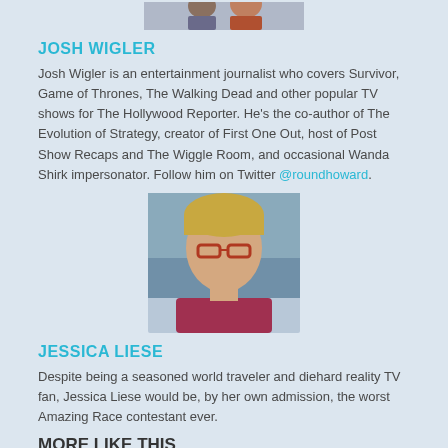[Figure (photo): Partial photo of two people, cropped at top of page]
JOSH WIGLER
Josh Wigler is an entertainment journalist who covers Survivor, Game of Thrones, The Walking Dead and other popular TV shows for The Hollywood Reporter. He's the co-author of The Evolution of Strategy, creator of First One Out, host of Post Show Recaps and The Wiggle Room, and occasional Wanda Shirk impersonator. Follow him on Twitter @roundhoward.
[Figure (photo): Headshot photo of Jessica Liese, a woman with glasses and reddish-pink jacket, outdoors near water]
JESSICA LIESE
Despite being a seasoned world traveler and diehard reality TV fan, Jessica Liese would be, by her own admission, the worst Amazing Race contestant ever.
MORE LIKE THIS